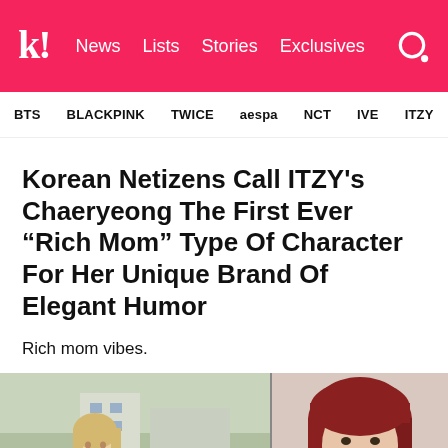k! News Lists Stories Exclusives
BTS BLACKPINK TWICE aespa NCT IVE ITZY
Korean Netizens Call ITZY's Chaeryeong The First Ever “Rich Mom” Type Of Character For Her Unique Brand Of Elegant Humor
Rich mom vibes.
[Figure (photo): Two photos side by side: left shows a young woman with blonde hair smiling outdoors in a crowd; right shows a young woman with dark red hair in a close-up shot.]